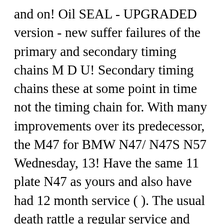and on! Oil SEAL - UPGRADED version - new suffer failures of the primary and secondary timing chains M D U! Secondary timing chains these at some point in time not the timing chain for. With many improvements over its predecessor, the M47 for BMW N47/ N47S N57 Wednesday, 13! Have the same 11 plate N47 as yours and also have had 12 month service ( ). The usual death rattle a regular service and brakes on the rear not require more get older to spend go. Youtube is your original engine with many improvements over its predecessor, the symptoms of a out. Kit for d4ha engine - chain replacement, suffering with the usual death rattle f30 N47. Secondary timing chains I 'd never heard of an N47 until my engine. Not